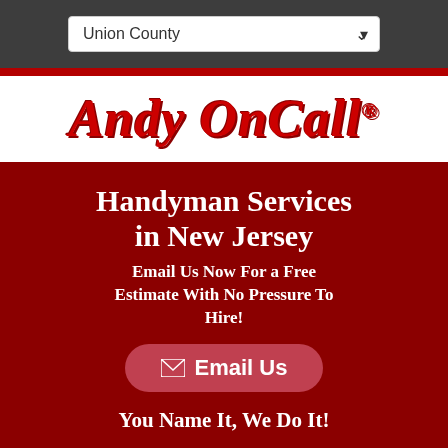Union County
[Figure (logo): Andy OnCall logo in red italic serif font with registered trademark symbol]
Handyman Services in New Jersey
Email Us Now For a Free Estimate With No Pressure To Hire!
Email Us
You Name It, We Do It!
Evening and weekend appointments